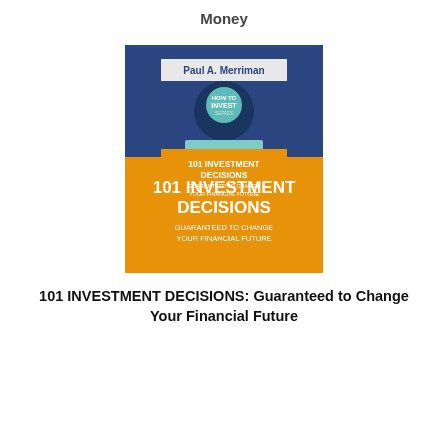Money
[Figure (illustration): Book cover for '101 Investment Decisions Guaranteed to Change Your Financial Future' by Paul A. Merriman, part of the How to Invest Series. The cover has a dark navy upper half and orange lower half. The upper half contains a nested book cover showing a keyhole shape with a figure on stairs and the text 'HOW TO INVEST SERIES'. The lower half shows the title '101 INVESTMENT DECISIONS GUARANTEED TO CHANGE YOUR FINANCIAL FUTURE' in bold white text.]
101 INVESTMENT DECISIONS: Guaranteed to Change Your Financial Future